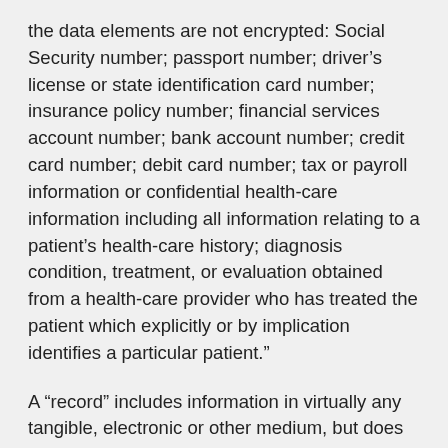the data elements are not encrypted: Social Security number; passport number; driver’s license or state identification card number; insurance policy number; financial services account number; bank account number; credit card number; debit card number; tax or payroll information or confidential health-care information including all information relating to a patient’s health-care history; diagnosis condition, treatment, or evaluation obtained from a health-care provider who has treated the patient which explicitly or by implication identifies a particular patient.”
A “record” includes information in virtually any tangible, electronic or other medium, but does not include any publicly available directories or sources of information that a customer has consented to have publicly available.